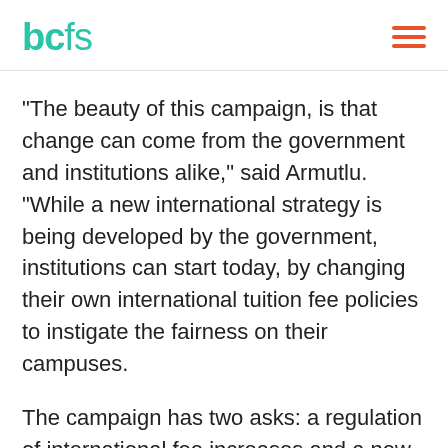bcfs
“The beauty of this campaign, is that change can come from the government and institutions alike,” said Armutlu. “While a new international strategy is being developed by the government, institutions can start today, by changing their own international tuition fee policies to instigate the fairness on their campuses.
The campaign has two asks: a regulation of international fee increases and a new international education strategy that provides sufficient supports for international